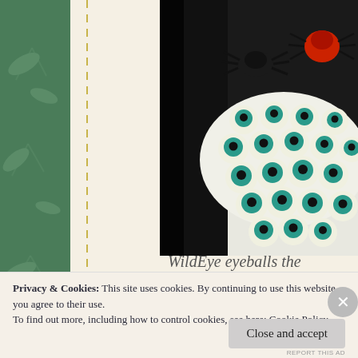[Figure (photo): Food photo: a white plate filled with round white candy eyeballs with teal/blue irises and black pupils, decorated with a black spider toy and a red spider toy on top. Dark background.]
Privacy & Cookies: This site uses cookies. By continuing to use this website, you agree to their use.
To find out more, including how to control cookies, see here: Cookie Policy
Close and accept
REPORT THIS AD